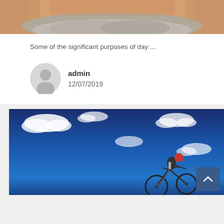[Figure (photo): Close-up photo of an elderly person's skin and gray hair, cropped at top of page]
Some of the significant purposes of day ...
admin
12/07/2019
[Figure (photo): Cyclist riding a bicycle against a bright blue sky with white clouds]